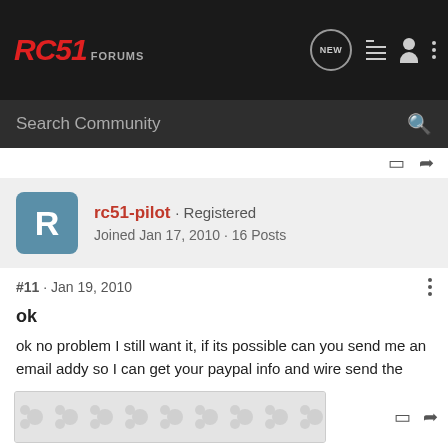RC51 FORUMS
Search Community
rc51-pilot · Registered
Joined Jan 17, 2010 · 16 Posts
#11 · Jan 19, 2010
ok
ok no problem I still want it, if its possible can you send me an email addy so I can get your paypal info and wire send the money so we can close the deal. thanks alot
[Figure (other): Advertisement banner with spinner/loading pattern background]